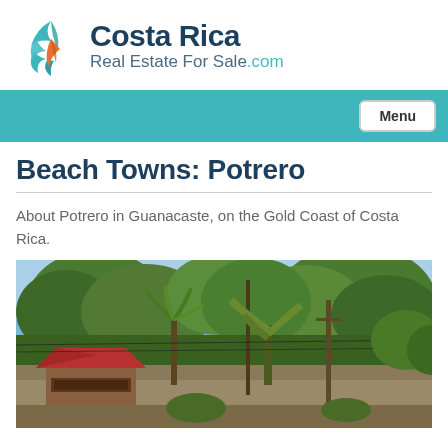[Figure (logo): Costa Rica Real Estate For Sale .com logo with tropical leaf/flower graphic in teal and orange]
[Figure (screenshot): Menu navigation bar in teal color with white Menu button on the right]
Beach Towns: Potrero
About Potrero in Guanacaste, on the Gold Coast of Costa Rica.
[Figure (photo): Outdoor tropical scene showing lush green trees, palm trees, a red-roofed small building, power lines, and blue sky — a street view in Potrero, Guanacaste, Costa Rica.]